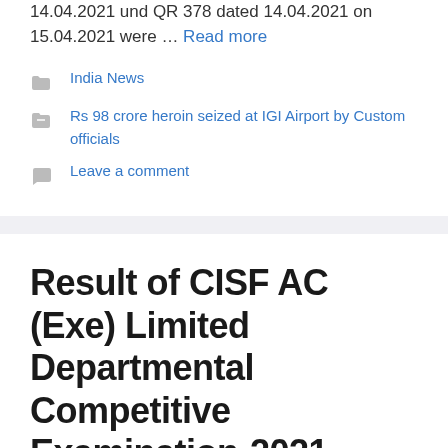14.04.2021 und QR 378 dated 14.04.2021 on 15.04.2021 were … Read more
India News
Rs 98 crore heroin seized at IGI Airport by Custom officials
Leave a comment
Result of CISF AC (Exe) Limited Departmental Competitive Examination-2021
April 16, 2021 by sarkarinewsjob